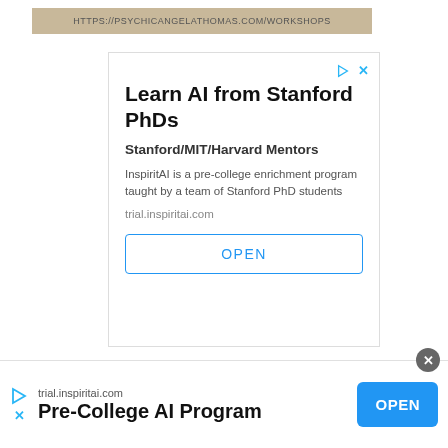HTTPS://PSYCHICANGELATHOMAS.COM/WORKSHOPS
[Figure (screenshot): Advertisement box for InspiritAI: 'Learn AI from Stanford PhDs', 'Stanford/MIT/Harvard Mentors', body text, url trial.inspiritai.com, OPEN button]
International Numerologist
[Figure (screenshot): Bottom ad banner: trial.inspiritai.com, Pre-College AI Program, OPEN button (blue)]